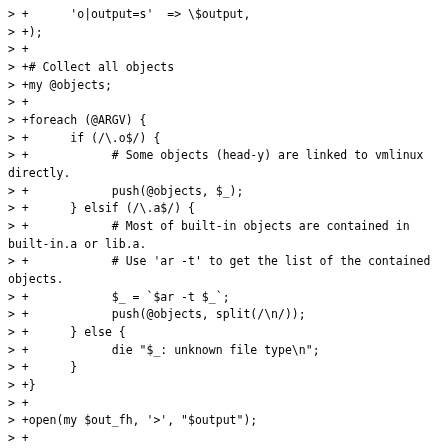> +      'o|output=s'  => \$output,
> +);
> +
> +# Collect all objects
> +my @objects;
> +
> +foreach (@ARGV) {
> +      if (/\.o$/) {
> +            # Some objects (head-y) are linked to vmlinux directly.
> +            push(@objects, $_);
> +      } elsif (/\.a$/) {
> +            # Most of built-in objects are contained in built-in.a or lib.a.
> +            # Use 'ar -t' to get the list of the contained objects.
> +            $_ = `$ar -t $_`;
> +            push(@objects, split(/\n/));
> +      } else {
> +            die "$_: unknown file type\n";
> +      }
> +}
> +
> +open(my $out_fh, '>', "$output");
> +
> +foreach (@objects) {
> +      # The symbol CRCs for foo/bar/baz.o is output to foo/bar/baz.o.symversions
> +      s/(.*)/\$1.symversions/;
> +